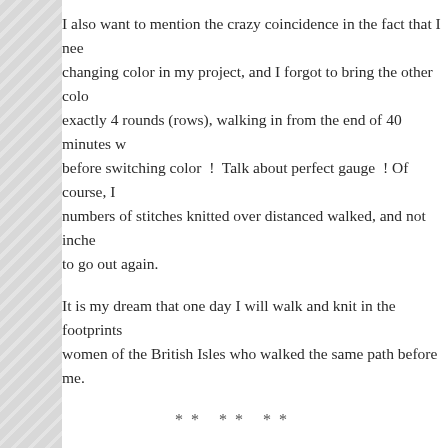I also want to mention the crazy coincidence in the fact that I nee changing color in my project, and I forgot to bring the other colo exactly 4 rounds (rows), walking in from the end of 40 minutes w before switching color ! Talk about perfect gauge ! Of course, I numbers of stitches knitted over distanced walked, and not inche to go out again.
It is my dream that one day I will walk and knit in the footprints women of the British Isles who walked the same path before me.
** ** **
Edited in 2 hours later: Well, I managed to walk for one and a qu knitting. I am observing some things while knitting & walking: that I was knitting/walking for over 2 hours. That is easily well o normally hiked, and the same with knitting. A win-win? I think is only slightly compromised (though probably no different than pockets), while my knitting posture is greatly improved as I was